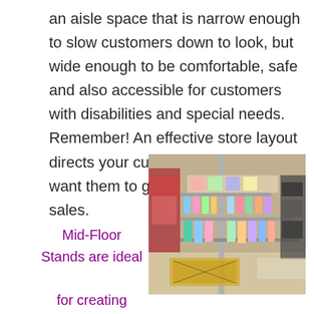an aisle space that is narrow enough to slow customers down to look, but wide enough to be comfortable, safe and also accessible for customers with disabilities and special needs. Remember! An effective store layout directs your customers to where you want them to go and can increase sales.
[Figure (photo): Photo of a clothing store interior showing rows of mid-floor clothing stands/racks with colorful garments hanging on them, viewed from a perspective angle along an aisle.]
Mid-Floor Stands are ideal for creating